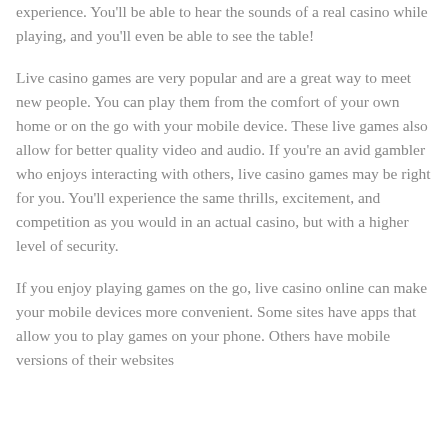experience. You'll be able to hear the sounds of a real casino while playing, and you'll even be able to see the table!
Live casino games are very popular and are a great way to meet new people. You can play them from the comfort of your own home or on the go with your mobile device. These live games also allow for better quality video and audio. If you're an avid gambler who enjoys interacting with others, live casino games may be right for you. You'll experience the same thrills, excitement, and competition as you would in an actual casino, but with a higher level of security.
If you enjoy playing games on the go, live casino online can make your mobile devices more convenient. Some sites have apps that allow you to play games on your phone. Others have mobile versions of their websites